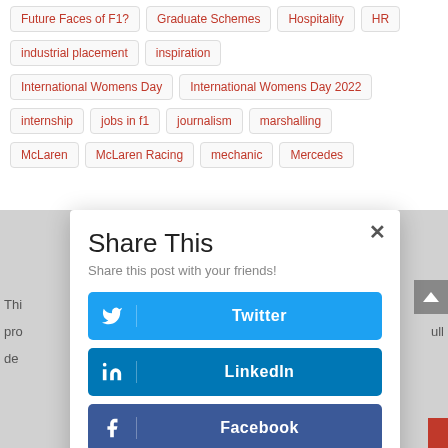Future Faces of F1?
Graduate Schemes
Hospitality
HR
industrial placement
inspiration
International Womens Day
International Womens Day 2022
internship
jobs in f1
journalism
marshalling
McLaren
McLaren Racing
mechanic
Mercedes
Share This
Share this post with your friends!
Twitter
LinkedIn
Facebook